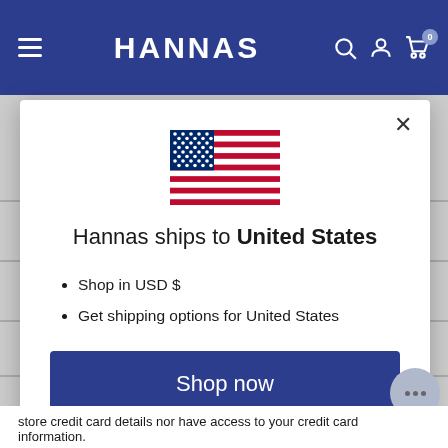HANNAS
[Figure (screenshot): US flag icon — stars and stripes]
Hannas ships to United States
Shop in USD $
Get shipping options for United States
Shop now
Change shipping country
store credit card details nor have access to your credit card information.